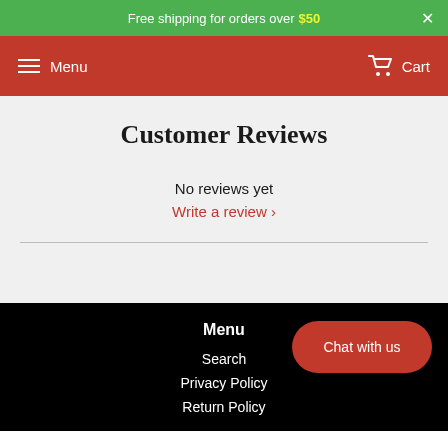Free shipping for orders over $50  ×
Menu    Cart
Customer Reviews
No reviews yet
Write a review ›
Menu
Search
Privacy Policy
Return Policy
Chat with us